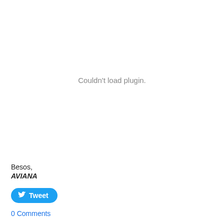Couldn't load plugin.
Besos,
AVIANA
[Figure (other): Tweet button with Twitter bird icon]
0 Comments